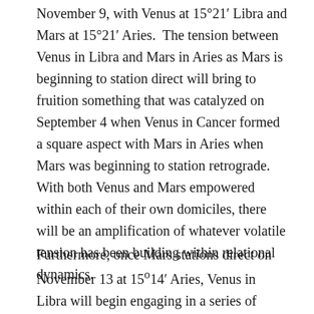November 9, with Venus at 15°21′ Libra and Mars at 15°21′ Aries.  The tension between Venus in Libra and Mars in Aries as Mars is beginning to station direct will bring to fruition something that was catalyzed on September 4 when Venus in Cancer formed a square aspect with Mars in Aries when Mars was beginning to station retrograde. With both Venus and Mars empowered within each of their own domiciles, there will be an amplification of whatever volatile tension has been building within relational dynamics.
Furthermore, once Mars stations direct on November 13 at 15°14′ Aries, Venus in Libra will begin engaging in a series of square aspects with Mars. Continuing and Venus in Aries...